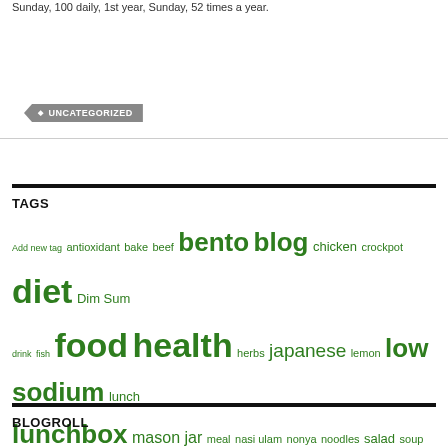Sunday, 100 daily, 1st year, Sunday, 52 times a year.
UNCATEGORIZED
TAGS
Add new tag antioxidant bake beef bento blog chicken crockpot diet Dim Sum drink fish food health herbs japanese lemon low sodium lunch lunchbox mason jar meal nasi ulam nonya noodles salad soup starfruit tomyam Uncategorized
BLOGROLL